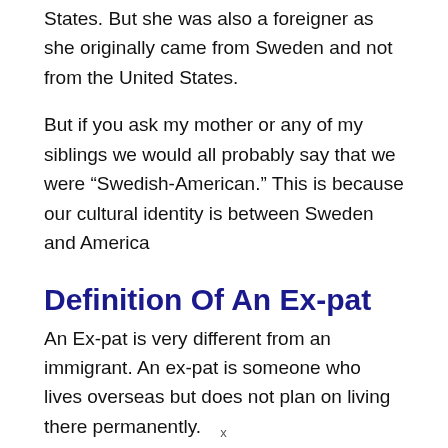States. But she was also a foreigner as she originally came from Sweden and not from the United States.
But if you ask my mother or any of my siblings we would all probably say that we were “Swedish-American.” This is because our cultural identity is between Sweden and America
Definition Of An Ex-pat
An Ex-pat is very different from an immigrant. An ex-pat is someone who lives overseas but does not plan on living there permanently.
x